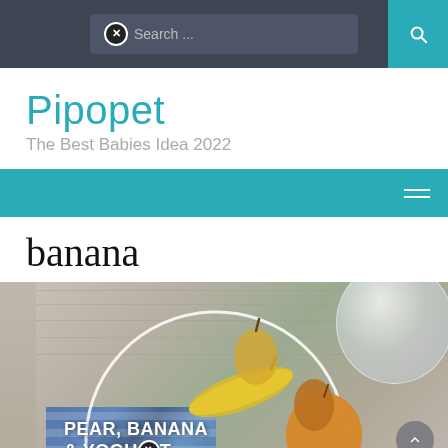Search ...
Pipopet
The Best Babies Idea 2022
banana
[Figure (photo): Photo of pears and banana with a glass of milk on a wooden background, with text overlay reading PEAR, BANANA & YOGURT and a semi-circular arc graphic. A scroll-up button is visible in the lower right.]